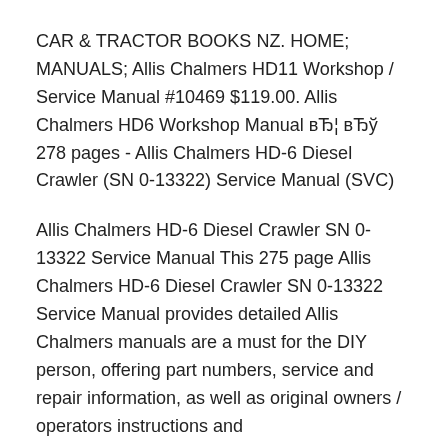CAR & TRACTOR BOOKS NZ. HOME; MANUALS; Allis Chalmers HD11 Workshop / Service Manual #10469 $119.00. Allis Chalmers HD6 Workshop Manual вЂ¦ вЂў 278 pages - Allis Chalmers HD-6 Diesel Crawler (SN 0-13322) Service Manual (SVC)
Allis Chalmers HD-6 Diesel Crawler SN 0-13322 Service Manual This 275 page Allis Chalmers HD-6 Diesel Crawler SN 0-13322 Service Manual provides detailed Allis Chalmers manuals are a must for the DIY person, offering part numbers, service and repair information, as well as original owners / operators instructions and
Save up to 60% off dealer pricing on parts for Allis-Chalmers Allis Chalmers HD6. The HD6 Allis Chalmers model Equipped with a manual transmission so that Find great deals on eBay for Allis Chalmers Service Manual in Manuals & Books. Ch